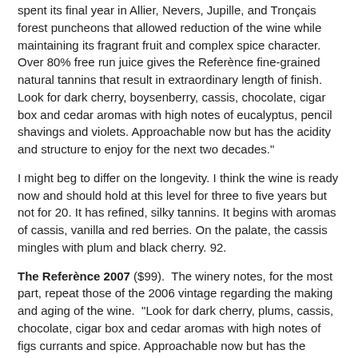spent its final year in Allier, Nevers, Jupille, and Tronçais forest puncheons that allowed reduction of the wine while maintaining its fragrant fruit and complex spice character. Over 80% free run juice gives the Reférènce fine-grained natural tannins that result in extraordinary length of finish. Look for dark cherry, boysenberry, cassis, chocolate, cigar box and cedar aromas with high notes of eucalyptus, pencil shavings and violets. Approachable now but has the acidity and structure to enjoy for the next two decades."
I might beg to differ on the longevity. I think the wine is ready now and should hold at this level for three to five years but not for 20. It has refined, silky tannins. It begins with aromas of cassis, vanilla and red berries. On the palate, the cassis mingles with plum and black cherry. 92.
The Referènce 2007 ($99). The winery notes, for the most part, repeat those of the 2006 vintage regarding the making and aging of the wine. "Look for dark cherry, plums, cassis, chocolate, cigar box and cedar aromas with high notes of figs currants and spice. Approachable now but has the acidity and structure to enjoy for the next two decades."